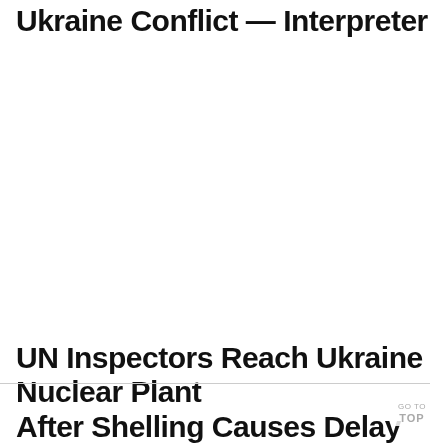Ukraine Conflict — Interpreter
UN Inspectors Reach Ukraine Nuclear Plant After Shelling Causes Delay